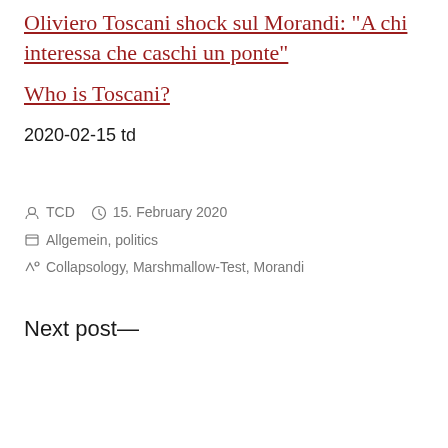Oliviero Toscani shock sul Morandi: "A chi interessa che caschi un ponte"
Who is Toscani?
2020-02-15 td
Posted by TCD  15. February 2020  Categories: Allgemein, politics  Tags: Collapsology, Marshmallow-Test, Morandi
Next post—